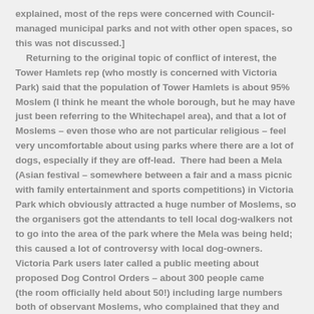explained, most of the reps were concerned with Council-managed municipal parks and not with other open spaces, so this was not discussed.] Returning to the original topic of conflict of interest, the Tower Hamlets rep (who mostly is concerned with Victoria Park) said that the population of Tower Hamlets is about 95% Moslem (I think he meant the whole borough, but he may have just been referring to the Whitechapel area), and that a lot of Moslems – even those who are not particular religious – feel very uncomfortable about using parks where there are a lot of dogs, especially if they are off-lead. There had been a Mela (Asian festival – somewhere between a fair and a mass picnic with family entertainment and sports competitions) in Victoria Park which obviously attracted a huge number of Moslems, so the organisers got the attendants to tell local dog-walkers not to go into the area of the park where the Mela was being held; this caused a lot of controversy with local dog-owners. Victoria Park users later called a public meeting about proposed Dog Control Orders – about 300 people came (the room officially held about 50!) including large numbers both of observant Moslems, who complained that they and their families felt they were being excluded from using their